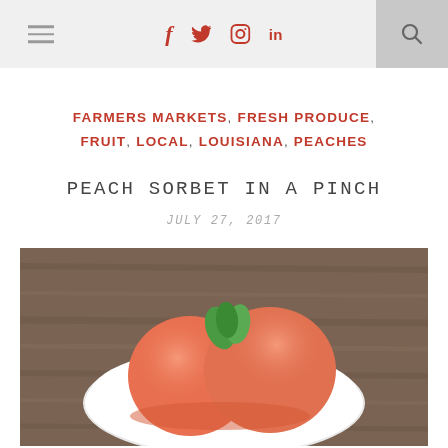Navigation bar with hamburger menu, social icons (f, twitter, instagram, in), and search
FARMERS MARKETS, FRESH PRODUCE, FRUIT, LOCAL, LOUISIANA, PEACHES
PEACH SORBET IN A PINCH
JULY 27, 2017
[Figure (photo): Two scoops of peach sorbet on a white plate garnished with mint leaves, placed on a wooden surface]